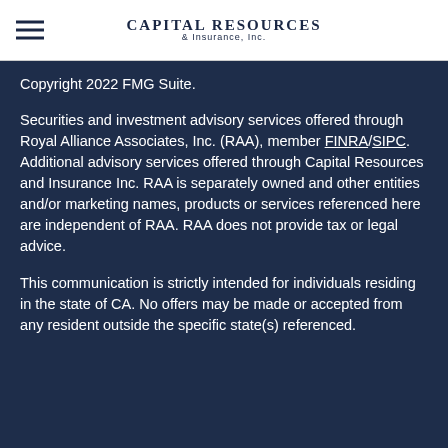Capital Resources & Insurance, Inc.
Copyright 2022 FMG Suite.
Securities and investment advisory services offered through Royal Alliance Associates, Inc. (RAA), member FINRA/SIPC. Additional advisory services offered through Capital Resources and Insurance Inc. RAA is separately owned and other entities and/or marketing names, products or services referenced here are independent of RAA. RAA does not provide tax or legal advice.
This communication is strictly intended for individuals residing in the state of CA. No offers may be made or accepted from any resident outside the specific state(s) referenced.